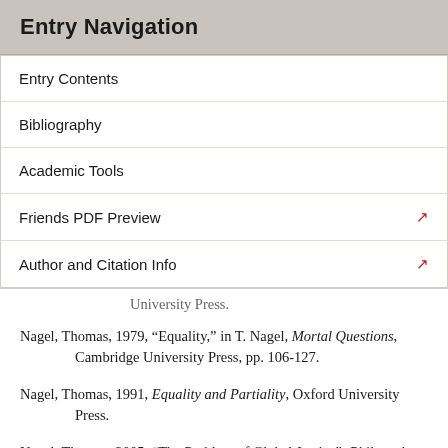Entry Navigation
Entry Contents
Bibliography
Academic Tools
Friends PDF Preview
Author and Citation Info
University Press.
Nagel, Thomas, 1979, “Equality,” in T. Nagel, Mortal Questions, Cambridge University Press, pp. 106-127.
Nagel, Thomas, 1991, Equality and Partiality, Oxford University Press.
Nagel, Thomas, 2005, “The Problem of Global Justice”, Philosophy and Public Affairs, 33 (2): 113-147.
Nozick, Robert, 1974, Anarchy, State, and Utopia, New York: Basic Books.
Nussbaum, Martha, 1992, “Human Functioning and